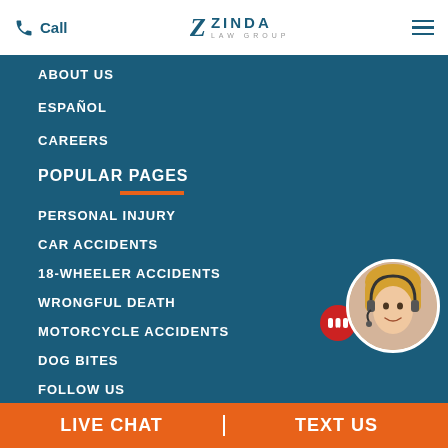Call | ZINDA LAW GROUP | Menu
ABOUT US
ESPAÑOL
CAREERS
POPULAR PAGES
PERSONAL INJURY
CAR ACCIDENTS
18-WHEELER ACCIDENTS
WRONGFUL DEATH
MOTORCYCLE ACCIDENTS
DOG BITES
FOLLOW US
LIVE CHAT | TEXT US